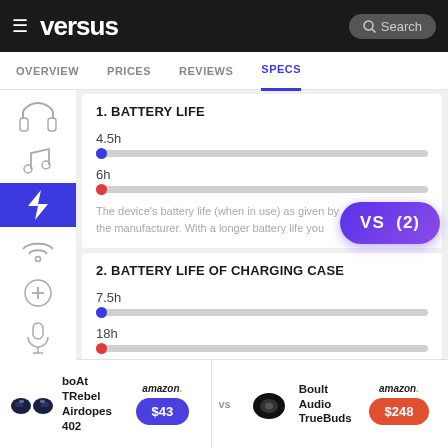versus — OVERVIEW | PRICES | REVIEWS | SPECS
1. BATTERY LIFE
4.5h
6h
The device's battery life (when in use) as given by the manufacturer. With a longer battery life you
2. BATTERY LIFE OF CHARGING CASE
7.5h
18h
[Figure (other): VS (2) badge overlay]
boAt TRebel Airdopes 402 vs Boult Audio TrueBuds — amazon $43 | amazon $248